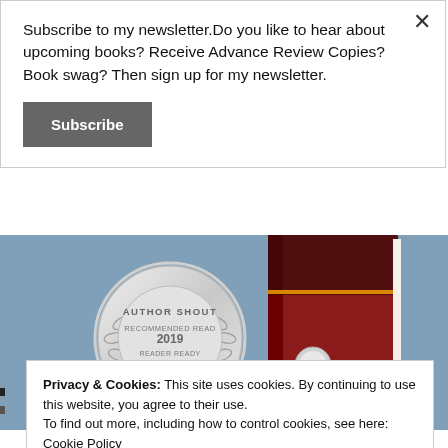Subscribe to my newsletter.Do you like to hear about upcoming books? Receive Advance Review Copies? Book swag? Then sign up for my newsletter.
Subscribe
[Figure (illustration): Author Shout Recommended Read 2019 Reader Ready Award silver medal badge on a blue-grey background, with a partially visible book cover by Melanie Robertson-King on the right.]
Privacy & Cookies: This site uses cookies. By continuing to use this website, you agree to their use. To find out more, including how to control cookies, see here: Cookie Policy
Close and accept